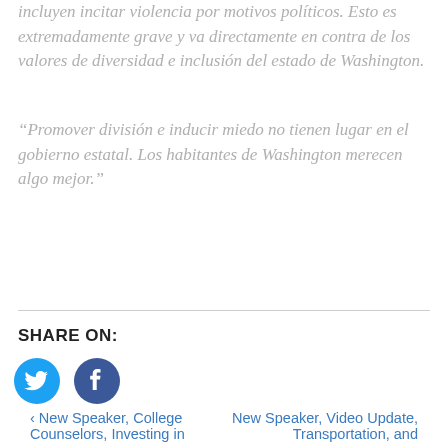incluyen incitar violencia por motivos políticos. Esto es extremadamente grave y va directamente en contra de los valores de diversidad e inclusión del estado de Washington.
“Promover división e inducir miedo no tienen lugar en el gobierno estatal. Los habitantes de Washington merecen algo mejor.”
SHARE ON:
[Figure (logo): Twitter bird logo icon (blue circle with white bird)]
[Figure (logo): Facebook logo icon (dark blue circle with white f)]
< New Speaker, College Counselors, Investing in
New Speaker, Video Update, Transportation, and